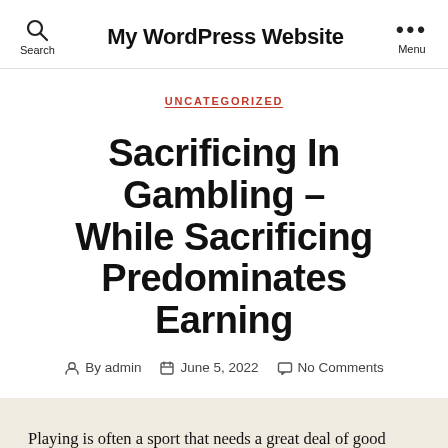My WordPress Website
UNCATEGORIZED
Sacrificing In Gambling – While Sacrificing Predominates Earning
By admin   June 5, 2022   No Comments
Playing is often a sport that needs a great deal of good luck. No person are going to be absolutely clear on the